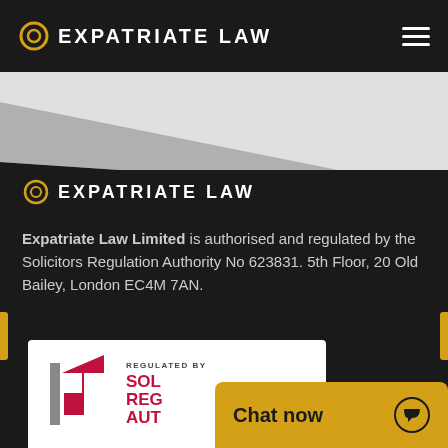[Figure (logo): Expatriate Law logo in header bar with circular icon and white text on dark background]
[Figure (logo): Expatriate Law logo in footer section with circular icon and white text on dark background]
Expatriate Law Limited is authorised and regulated by the Solicitors Regulation Authority No 623831. 5th Floor, 20 Old Bailey, London EC4M 7AN.
[Figure (logo): Solicitors Regulation Authority badge - white card with SRA red logo and 'REGULATED BY SOLICITORS REGULATION AUTHORITY' text]
[Figure (other): Chat now button in yellow/gold with speech bubble icon]